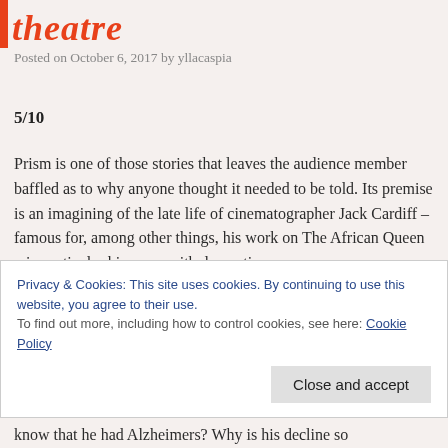theatre
Posted on October 6, 2017 by yllacaspia
5/10
Prism is one of those stories that leaves the audience member baffled as to why anyone thought it needed to be told. Its premise is an imagining of the late life of cinematographer Jack Cardiff – famous for, among other things, his work on The African Queen – in particular his years with dementia.
Plays that depict dementia's slippage between present reality
Privacy & Cookies: This site uses cookies. By continuing to use this website, you agree to their use.
To find out more, including how to control cookies, see here: Cookie Policy
know that he had Alzheimers? Why is his decline so